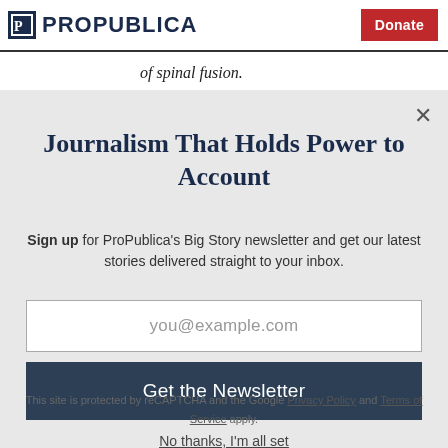ProPublica | Donate
of spinal fusion.
Journalism That Holds Power to Account
Sign up for ProPublica's Big Story newsletter and get our latest stories delivered straight to your inbox.
you@example.com
Get the Newsletter
No thanks, I'm all set
This site is protected by reCAPTCHA and the Google Privacy Policy and Terms of Service apply.